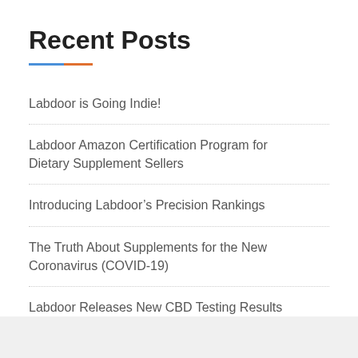Recent Posts
Labdoor is Going Indie!
Labdoor Amazon Certification Program for Dietary Supplement Sellers
Introducing Labdoor’s Precision Rankings
The Truth About Supplements for the New Coronavirus (COVID-19)
Labdoor Releases New CBD Testing Results